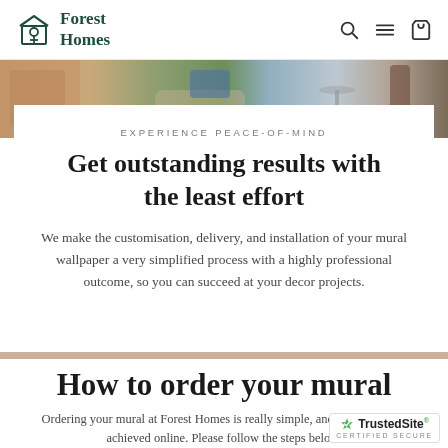Forest Homes
[Figure (photo): Partial view of a living room interior with warm wooden furniture, a beige chair, blue pillow, and side table]
EXPERIENCE PEACE-OF-MIND
Get outstanding results with the least effort
We make the customisation, delivery, and installation of your mural wallpaper a very simplified process with a highly professional outcome, so you can succeed at your decor projects.
How to order your mural
Ordering your mural at Forest Homes is really simple, and can be simply achieved online. Please follow the steps below.
[Figure (logo): TrustedSite Certified Secure badge with green checkmark]